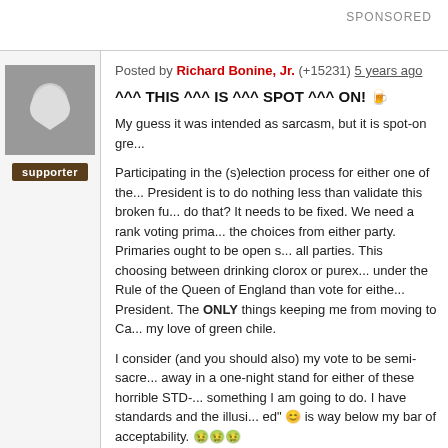SPONSORED
Posted by Richard Bonine, Jr. (+15231) 5 years ago
^^^ THIS ^^^ IS ^^^ SPOT ^^^ ON! 🍺
My guess it was intended as sarcasm, but it is spot-on gre...
Participating in the (s)election process for either one of the... President is to do nothing less than validate this broken fu... do that? It needs to be fixed. We need a rank voting prima... the choices from either party. Primaries ought to be open s... all parties. This choosing between drinking clorox or purex... under the Rule of the Queen of England than vote for eithe... President. The ONLY things keeping me from moving to Ca... my love of green chile.
I consider (and you should also) my vote to be semi-sacre... away in a one-night stand for either of these horrible STD-... something I am going to do. I have standards and the illusi... ed" 😊 is way below my bar of acceptability. 🤢🤢🤢
And this early voting BS... how do we know the results are...